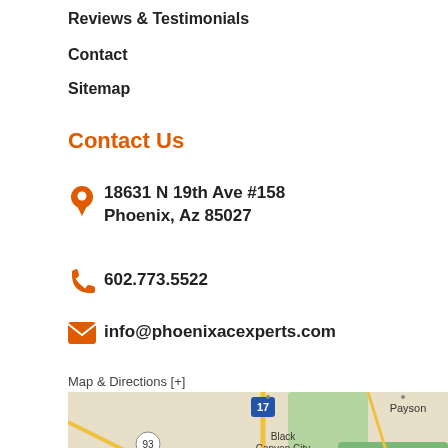Reviews & Testimonials
Contact
Sitemap
Contact Us
18631 N 19th Ave #158
Phoenix, Az 85027
602.773.5522
info@phoenixacexperts.com
Map & Directions [+]
[Figure (map): Google Maps showing area around Phoenix, AZ including Wickenburg, Black Canyon City, New River, Payson, and Tonto National Forest with route 17, 93, and 60 visible.]